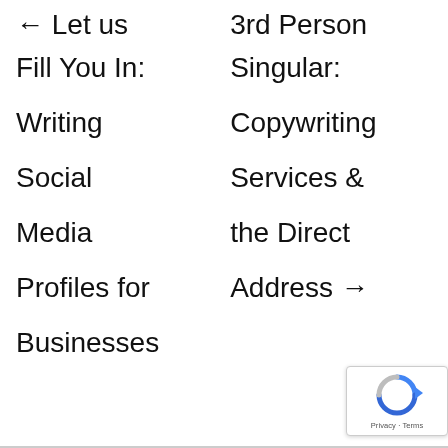← Let us Fill You In: Writing Social Media Profiles for Businesses
3rd Person Singular: Copywriting Services & the Direct Address →
[Figure (other): Google reCAPTCHA badge with spinning arrow icon and Privacy/Terms text]